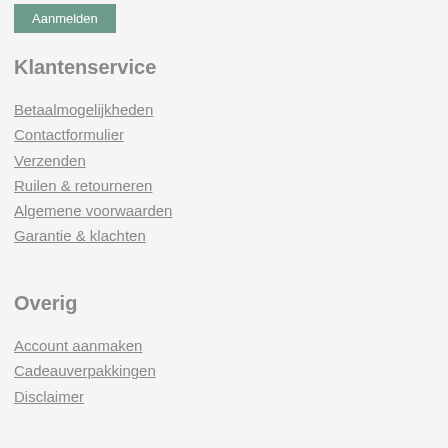[Figure (other): Green/teal button labeled 'Aanmelden' at top left]
Klantenservice
Betaalmogelijkheden
Contactformulier
Verzenden
Ruilen & retourneren
Algemene voorwaarden
Garantie & klachten
Overig
Account aanmaken
Cadeauverpakkingen
Disclaimer